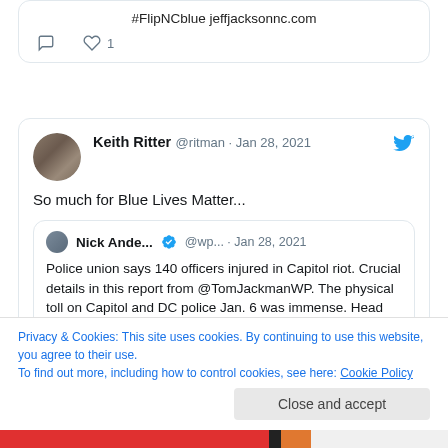#FlipNCblue jeffjacksonnc.com
1 (like)
Keith Ritter @ritman · Jan 28, 2021
So much for Blue Lives Matter...
Nick Ande... @wp... · Jan 28, 2021
Police union says 140 officers injured in Capitol riot. Crucial details in this report from @TomJackmanWP. The physical toll on Capitol and DC police Jan. 6 was immense. Head injuries, cracked ribs. On...
Privacy & Cookies: This site uses cookies. By continuing to use this website, you agree to their use.
To find out more, including how to control cookies, see here: Cookie Policy
Close and accept